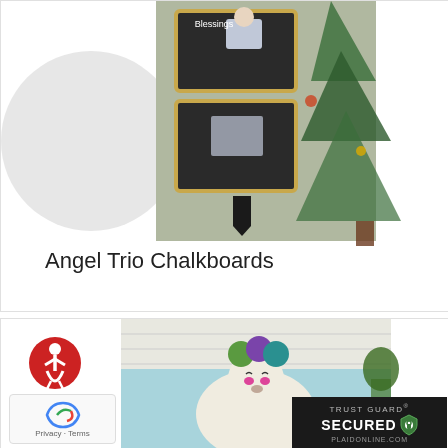[Figure (photo): Angel Trio Chalkboards craft project — three stacked chalkboards with angel figures and text, hanging in front of a Christmas tree]
Angel Trio Chalkboards
[Figure (photo): A light blue canvas painting of a llama with colorful pom-pom decorations on its head, pink cheeks, leaning against a white brick wall with a plant in the background. Overlaid with Trust Guard Secured badge and accessibility/reCAPTCHA icons.]